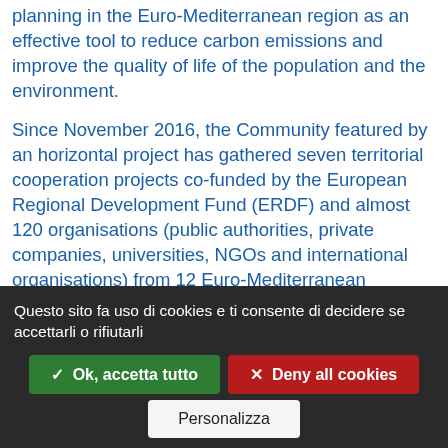Community is promoting sustainable urban mobility planning in the Euro-Mediterranean region as an effective tool to reduce carbon emissions and improve the quality of life of the population and the environment.
Since November 2016, the Community featured by an horizontal project has gathered seven territorial cooperation projects co-funded by the European Regional Development Fund (ERDF) and almost 120 organisations (public authorities, private companies, universities, NGOs and international organisations) from 12 Euro-Mediterranean countries. In this second phase the Community has the opportunity to bring the capitalisation process to the next level by providing local authorities with a tailor-made support to
Questo sito fa uso di cookies e ti consente di decidere se accettarli o rifiutarli
✓ Ok, accetta tutto
✕ Deny all cookies
Personalizza